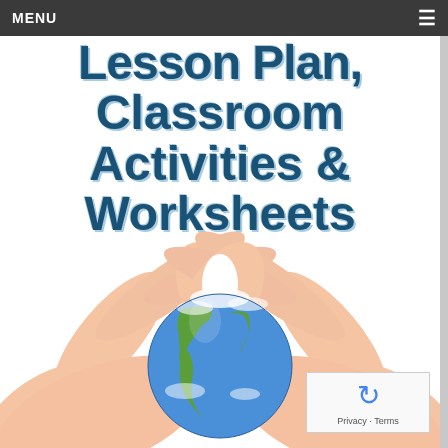MENU
[Figure (illustration): Two hands forming a heart shape around a globe of the Earth, on a white background, with overlaid title text reading 'Lesson Plan, Classroom Activities & Worksheets']
Lesson Plan, Classroom Activities & Worksheets